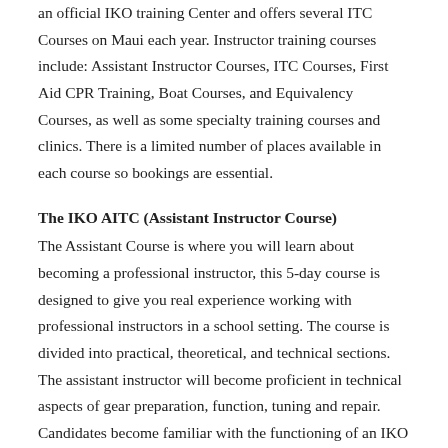an official IKO training Center and offers several ITC Courses on Maui each year. Instructor training courses include: Assistant Instructor Courses, ITC Courses, First Aid CPR Training, Boat Courses, and Equivalency Courses, as well as some specialty training courses and clinics. There is a limited number of places available in each course so bookings are essential.
The IKO AITC (Assistant Instructor Course)
The Assistant Course is where you will learn about becoming a professional instructor, this 5-day course is designed to give you real experience working with professional instructors in a school setting. The course is divided into practical, theoretical, and technical sections. The assistant instructor will become proficient in technical aspects of gear preparation, function, tuning and repair. Candidates become familiar with the functioning of an IKO school, learn to give the basic ground school lessons, and work with real students, and take on the responsibilities for managing kiteboarders.